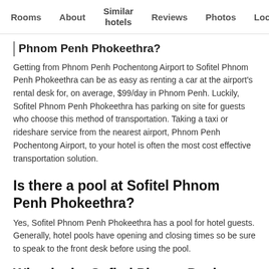Rooms | About | Similar hotels | Reviews | Photos | Loca...
Phnom Penh Phokeethra?
Getting from Phnom Penh Pochentong Airport to Sofitel Phnom Penh Phokeethra can be as easy as renting a car at the airport's rental desk for, on average, $99/day in Phnom Penh. Luckily, Sofitel Phnom Penh Phokeethra has parking on site for guests who choose this method of transportation. Taking a taxi or rideshare service from the nearest airport, Phnom Penh Pochentong Airport, to your hotel is often the most cost effective transportation solution.
Is there a pool at Sofitel Phnom Penh Phokeethra?
Yes, Sofitel Phnom Penh Phokeethra has a pool for hotel guests. Generally, hotel pools have opening and closing times so be sure to speak to the front desk before using the pool.
What is the Sofitel Phnom Penh Phokeetha...